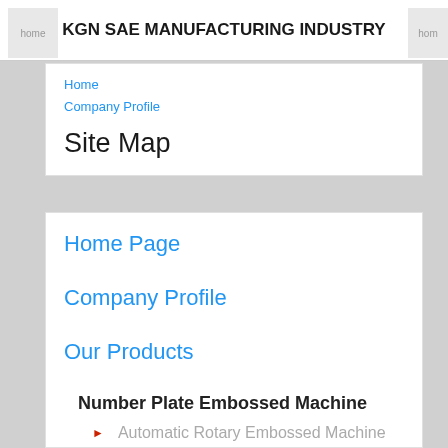KGN SAE MANUFACTURING INDUSTRY
Home
Company Profile
Site Map
Home Page
Company Profile
Our Products
Number Plate Embossed Machine
Automatic Rotary Embossed Machine